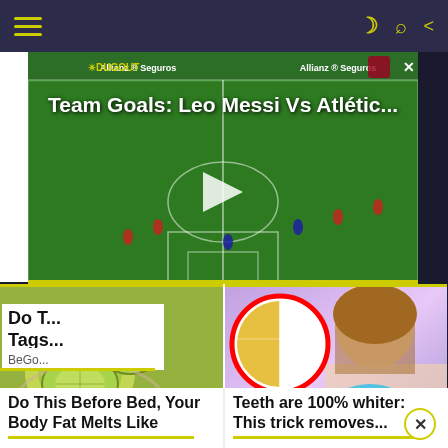Navigation bar with hamburger menu, dark/light toggle, search, and share icons
[Figure (screenshot): Video thumbnail of a football match with title 'Team Goals: Leo Messi Vs Atlétic...' overlaid, with a play button in the center. Allianz Seguros sponsor banners visible. Close button top right.]
Do T...
Tags...
BeGo...
[Figure (photo): Close-up photo of cucumber slices in a bowl or dish, green and fresh looking.]
[Figure (photo): Photo of a woman using a teeth whitening device, with an inset close-up circle showing teeth half yellow half white.]
Do This Before Bed, Your Body Fat Melts Like
Teeth are 100% whiter: This trick removes...